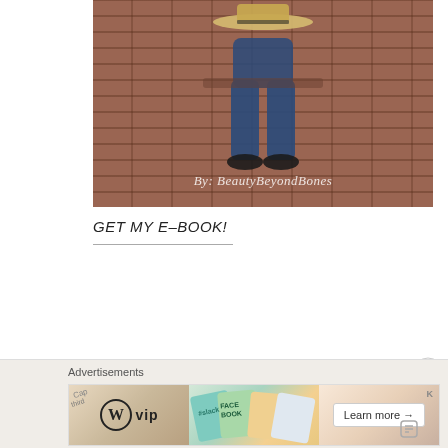[Figure (photo): Photo of a person sitting on a brick wall ledge wearing jeans, black shoes, and holding a wide-brim straw hat. The brick wall is the dominant background. A watermark reads 'By: BeautyBeyondBones' overlaid at the bottom of the image.]
GET MY E-BOOK!
[Figure (other): Advertisement banner with 'Advertisements' label. Contains WordPress VIP logo on the left, colorful social media themed graphics in the middle, and a 'Learn more →' button on the right.]